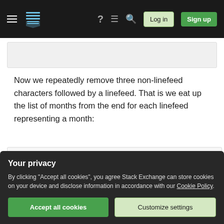Stack Exchange navigation bar with hamburger menu, logo, help, chat, search icons, Log in and Sign up buttons
Now we repeatedly remove three non-linefeed characters followed by a linefeed. That is we eat up the list of months from the end for each linefeed representing a month:
[Figure (screenshot): Code block showing text: 20DECNOVOCTSEPAUGJULJUNMAYAPRMARFEBJANXXX¶¶ / 20DECNOVOCTSEPAUGJULJUNMAYAPRMARFEBJAN¶¶¶16 / 20DECNOVOCTSEPAUGJULJUNMAYAPRMARFEB¶¶16 / 20DECNOVOCTSEPAUGJULJUNMAYAPRMAR¶16 / 20DECNOVOCTSEPAUGJULJUNMAYAPR16]
Your privacy
By clicking "Accept all cookies", you agree Stack Exchange can store cookies on your device and disclose information in accordance with our Cookie Policy.
Accept all cookies  Customize settings